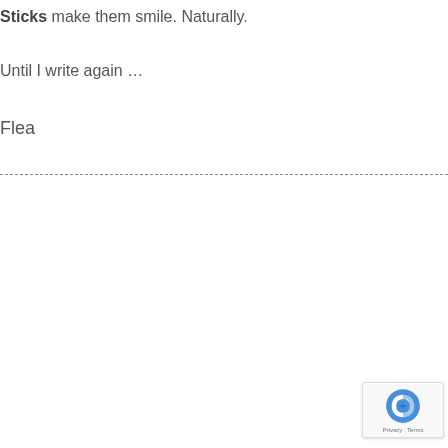Sticks make them smile. Naturally.
Until I write again …
Flea
[Figure (other): reCAPTCHA badge with privacy and terms links]